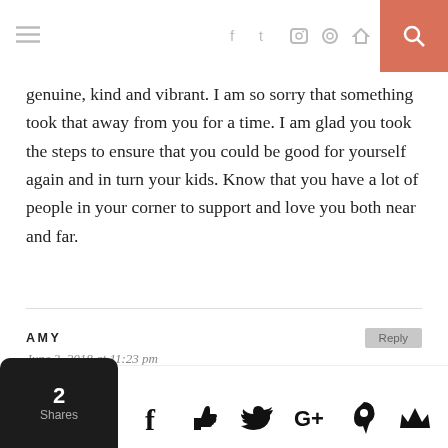≡  [social icons]  [search]
genuine, kind and vibrant. I am so sorry that something took that away from you for a time. I am glad you took the steps to ensure that you could be good for yourself again and in turn your kids. Know that you have a lot of people in your corner to support and love you both near and far.
AMY
June 3, 2018 at 11:23 pm
Clarissa – I know that I've said it before, but I will say it again. You are a bright light in our community. You listen, give, and spread good. I'm fortunate to know you. Thank you for being the
2 Shares  [share icons: Facebook, Like, Twitter, G+, Pinterest 2, Crown]